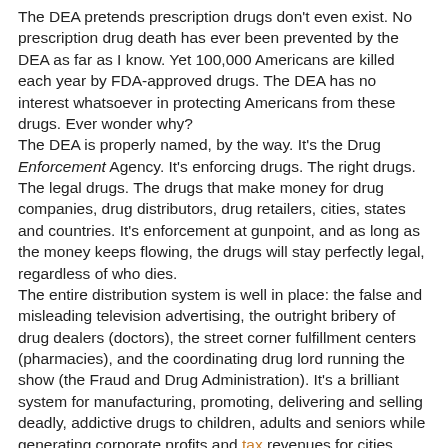The DEA pretends prescription drugs don't even exist. No prescription drug death has ever been prevented by the DEA as far as I know. Yet 100,000 Americans are killed each year by FDA-approved drugs. The DEA has no interest whatsoever in protecting Americans from these drugs. Ever wonder why?
The DEA is properly named, by the way. It's the Drug Enforcement Agency. It's enforcing drugs. The right drugs. The legal drugs. The drugs that make money for drug companies, drug distributors, drug retailers, cities, states and countries. It's enforcement at gunpoint, and as long as the money keeps flowing, the drugs will stay perfectly legal, regardless of who dies.
The entire distribution system is well in place: the false and misleading television advertising, the outright bribery of drug dealers (doctors), the street corner fulfillment centers (pharmacies), and the coordinating drug lord running the show (the Fraud and Drug Administration). It's a brilliant system for manufacturing, promoting, delivering and selling deadly, addictive drugs to children, adults and seniors while generating corporate profits and tax revenues for cities, states and nations.